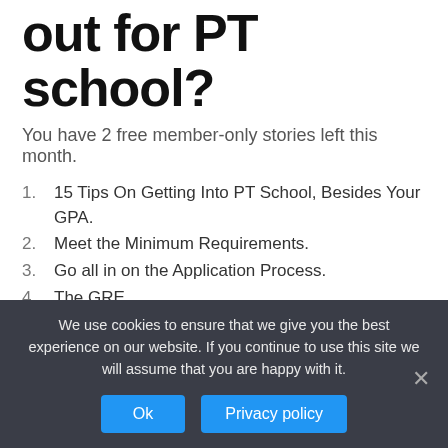out for PT school?
You have 2 free member-only stories left this month.
1. 15 Tips On Getting Into PT School, Besides Your GPA.
2. Meet the Minimum Requirements.
3. Go all in on the Application Process.
4. The GRE.
5. The Essay(s)
6. Asking for Letters of Recommendation.
7. Letters of Recommendation.
We use cookies to ensure that we give you the best experience on our website. If you continue to use this site we will assume that you are happy with it.